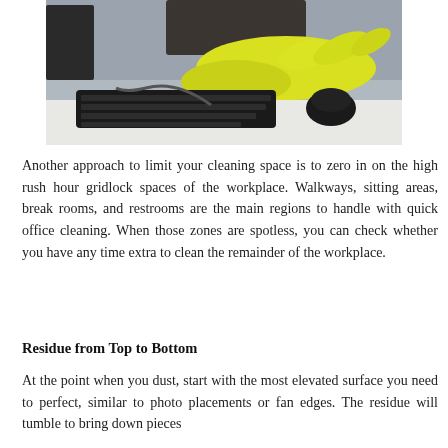[Figure (photo): Person wearing yellow rubber gloves cleaning a desk surface near a computer keyboard and mouse]
Another approach to limit your cleaning space is to zero in on the high rush hour gridlock spaces of the workplace. Walkways, sitting areas, break rooms, and restrooms are the main regions to handle with quick office cleaning. When those zones are spotless, you can check whether you have any time extra to clean the remainder of the workplace.
Residue from Top to Bottom
At the point when you dust, start with the most elevated surface you need to perfect, similar to photo placements or fan edges. The residue will tumble to bring down pieces